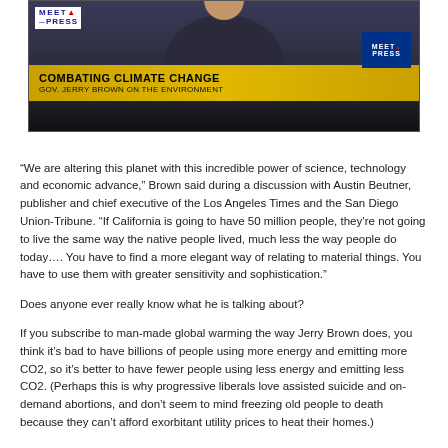[Figure (screenshot): TV screenshot of NBC Meet the Press showing a man in a suit with a lower-third banner reading 'COMBATING CLIMATE CHANGE / GOV. JERRY BROWN ON THE ENVIRONMENT']
“We are altering this planet with this incredible power of science, technology and economic advance,” Brown said during a discussion with Austin Beutner, publisher and chief executive of the Los Angeles Times and the San Diego Union-Tribune. “If California is going to have 50 million people, they’re not going to live the same way the native people lived, much less the way people do today…. You have to find a more elegant way of relating to material things. You have to use them with greater sensitivity and sophistication.”
Does anyone ever really know what he is talking about?
If you subscribe to man-made global warming the way Jerry Brown does, you think it’s bad to have billions of people using more energy and emitting more CO2, so it’s better to have fewer people using less energy and emitting less CO2. (Perhaps this is why progressive liberals love assisted suicide and on-demand abortions, and don’t seem to mind freezing old people to death because they can’t afford exorbitant utility prices to heat their homes.)